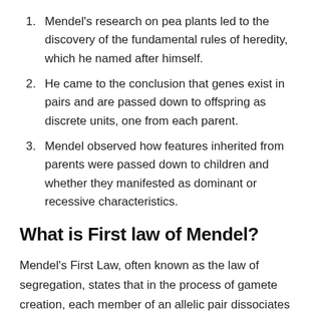Mendel's research on pea plants led to the discovery of the fundamental rules of heredity, which he named after himself.
He came to the conclusion that genes exist in pairs and are passed down to offspring as discrete units, one from each parent.
Mendel observed how features inherited from parents were passed down to children and whether they manifested as dominant or recessive characteristics.
What is First law of Mendel?
Mendel's First Law, often known as the law of segregation, states that in the process of gamete creation, each member of an allelic pair dissociates from